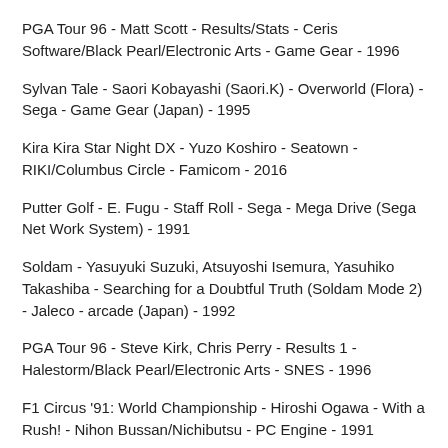PGA Tour 96 - Matt Scott - Results/Stats - Ceris Software/Black Pearl/Electronic Arts - Game Gear - 1996
Sylvan Tale - Saori Kobayashi (Saori.K) - Overworld (Flora) - Sega - Game Gear (Japan) - 1995
Kira Kira Star Night DX - Yuzo Koshiro - Seatown - RIKI/Columbus Circle - Famicom - 2016
Putter Golf - E. Fugu - Staff Roll - Sega - Mega Drive (Sega Net Work System) - 1991
Soldam - Yasuyuki Suzuki, Atsuyoshi Isemura, Yasuhiko Takashiba - Searching for a Doubtful Truth (Soldam Mode 2) - Jaleco - arcade (Japan) - 1992
PGA Tour 96 - Steve Kirk, Chris Perry - Results 1 - Halestorm/Black Pearl/Electronic Arts - SNES - 1996
F1 Circus '91: World Championship - Hiroshi Ogawa - With a Rush! - Nihon Bussan/Nichibutsu - PC Engine - 1991